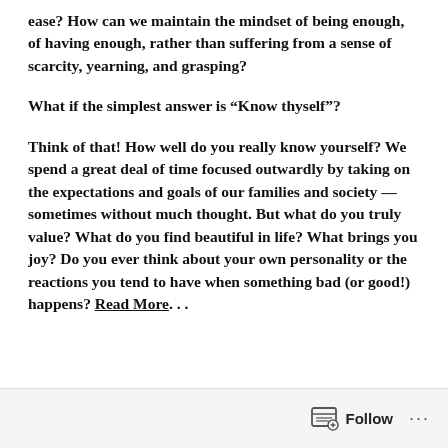ease? How can we maintain the mindset of being enough, of having enough, rather than suffering from a sense of scarcity, yearning, and grasping?
What if the simplest answer is “Know thyself”?
Think of that! How well do you really know yourself? We spend a great deal of time focused outwardly by taking on the expectations and goals of our families and society — sometimes without much thought. But what do you truly value? What do you find beautiful in life? What brings you joy? Do you ever think about your own personality or the reactions you tend to have when something bad (or good!) happens? Read More. . .
Follow ...